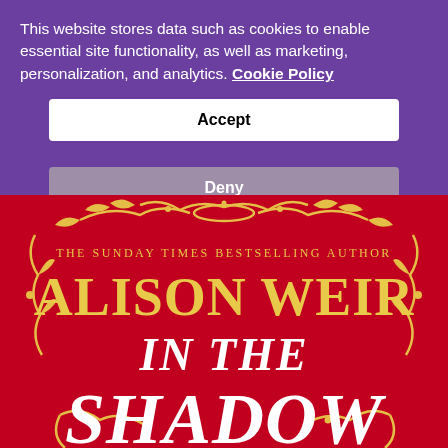This website stores data such as cookies to enable essential site functionality, as well as marketing, personalization, and analytics. Cookie Policy
[Figure (screenshot): Accept button - white rectangular button with bold black text 'Accept']
[Figure (screenshot): Deny button - grey rectangular button with bold white text 'Deny']
[Figure (illustration): Book cover of 'In the Shadow' by Alison Weir on a red background with gold ornamental flourishes. Text reads: THE SUNDAY TIMES BESTSELLING AUTHOR, ALISON WEIR, IN THE, SHADOW]